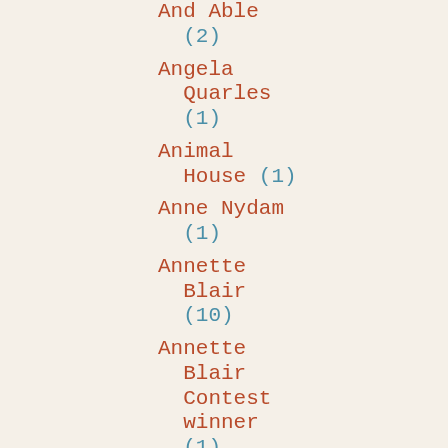And Able (2)
Angela Quarles (1)
Animal House (1)
Anne Nydam (1)
Annette Blair (10)
Annette Blair Contest winner (1)
Annette